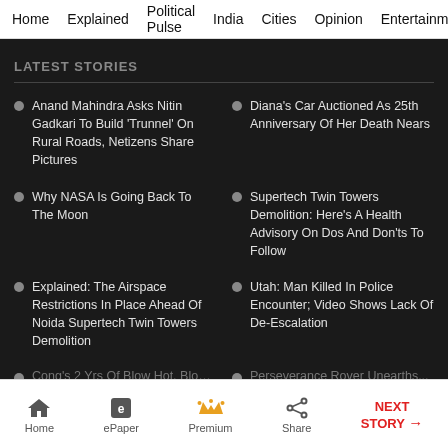Home  Explained  Political Pulse  India  Cities  Opinion  Entertainment
LATEST STORIES
Anand Mahindra Asks Nitin Gadkari To Build 'Trunnel' On Rural Roads, Netizens Share Pictures
Diana's Car Auctioned As 25th Anniversary Of Her Death Nears
Why NASA Is Going Back To The Moon
Supertech Twin Towers Demolition: Here's A Health Advisory On Dos And Don'ts To Follow
Explained: The Airspace Restrictions In Place Ahead Of Noida Supertech Twin Towers Demolition
Utah: Man Killed In Police Encounter; Video Shows Lack Of De-Escalation
Cong's 2 Yrs Of Blow Hot, Blow...
Perseverance Rover Unearths...
Home  ePaper  Premium  Share  NEXT STORY →